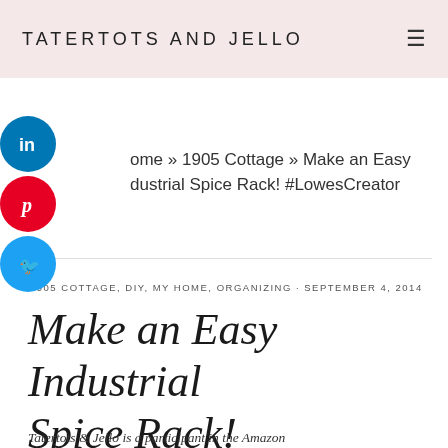TATERTOTS AND JELLO
[Figure (infographic): Three circular social share buttons stacked vertically: LinkedIn (blue), Pinterest (red), Twitter (blue)]
Home » 1905 Cottage » Make an Easy Industrial Spice Rack! #LowesCreator
1905 COTTAGE, DIY, MY HOME, ORGANIZING · SEPTEMBER 4, 2014
Make an Easy Industrial Spice Rack! #LowesCreator
Tatertots & Jello is a participant in the Amazon